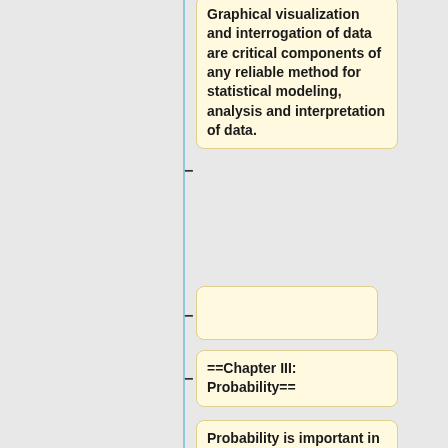Graphical visualization and interrogation of data are critical components of any reliable method for statistical modeling, analysis and interpretation of data.
==Chapter III: Probability==
Probability is important in many studies and disciplines because